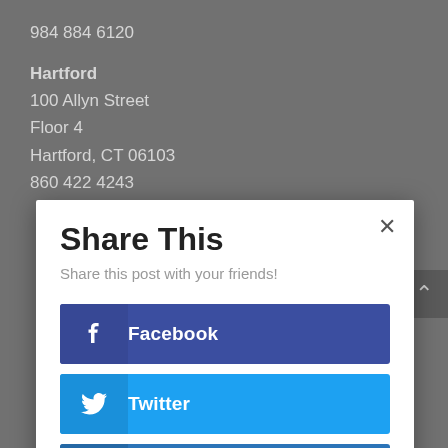984 884 6120
Hartford
100 Allyn Street
Floor 4
Hartford, CT 06103
860 422 4243
Share This
Share this post with your friends!
Facebook
Twitter
LinkedIn